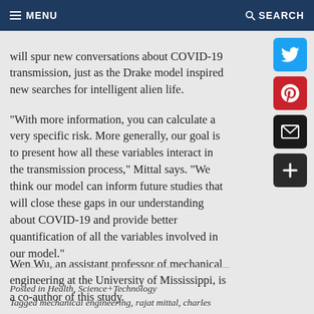MENU   SEARCH
will spur new conversations about COVID-19 transmission, just as the Drake model inspired new searches for intelligent alien life.
"With more information, you can calculate a very specific risk. More generally, our goal is to present how all these variables interact in the transmission process," Mittal says. "We think our model can inform future studies that will close these gaps in our understanding about COVID-19 and provide better quantification of all the variables involved in our model."
Wen Wu, an assistant professor of mechanical engineering at the University of Mississippi, is a co-author of this study.
Posted in Health, Science+Technology
Tagged mechanical engineering, rajat mittal, charles